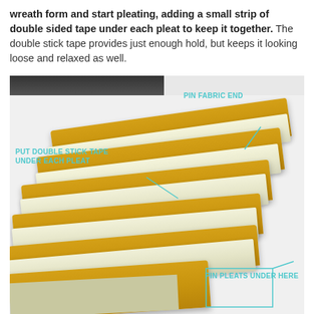wreath form and start pleating, adding a small strip of double sided tape under each pleat to keep it together. The double stick tape provides just enough hold, but keeps it looking loose and relaxed as well.
[Figure (photo): Annotated photo of yellow and white striped fabric being pleated on a white surface. Three cyan text annotations with leader lines label: PIN FABRIC END (top right), PUT DOUBLE STICK TAPE UNDER EACH PLEAT (left middle), and PIN PLEATS UNDER HERE (bottom right).]